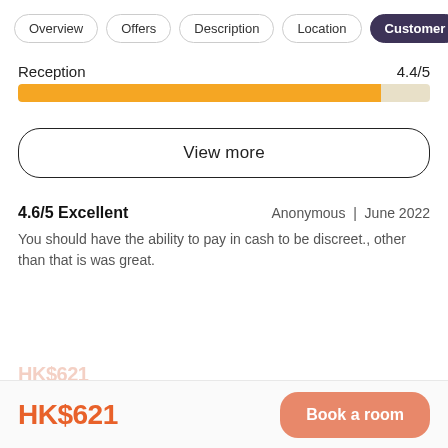Overview | Offers | Description | Location | Customer
Reception 4.4/5
[Figure (other): Horizontal progress bar showing Reception rating 4.4/5, filled approximately 88% with orange color]
View more
4.6/5 Excellent   Anonymous | June 2022
You should have the ability to pay in cash to be discreet., other than that is was great.
HK$621
Book a room